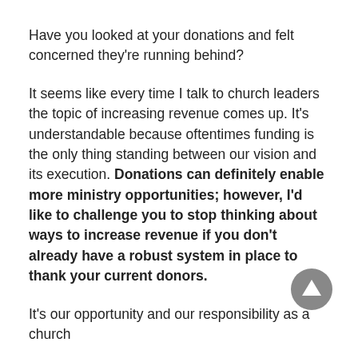Have you looked at your donations and felt concerned they're running behind?
It seems like every time I talk to church leaders the topic of increasing revenue comes up. It's understandable because oftentimes funding is the only thing standing between our vision and its execution. Donations can definitely enable more ministry opportunities; however, I'd like to challenge you to stop thinking about ways to increase revenue if you don't already have a robust system in place to thank your current donors.
It's our opportunity and our responsibility as a church